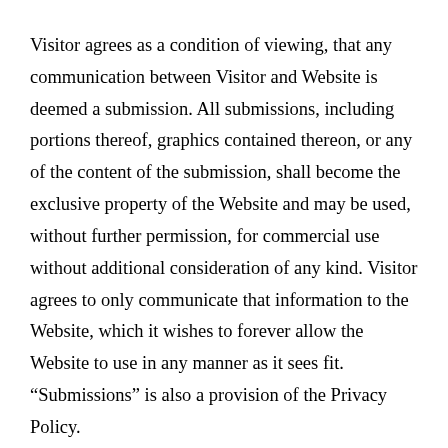Visitor agrees as a condition of viewing, that any communication between Visitor and Website is deemed a submission. All submissions, including portions thereof, graphics contained thereon, or any of the content of the submission, shall become the exclusive property of the Website and may be used, without further permission, for commercial use without additional consideration of any kind. Visitor agrees to only communicate that information to the Website, which it wishes to forever allow the Website to use in any manner as it sees fit. “Submissions” is also a provision of the Privacy Policy.